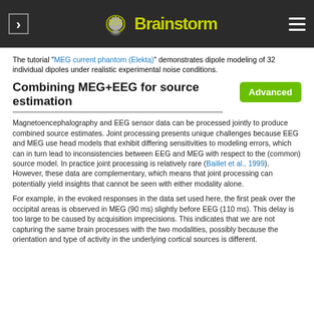Brainstorm
The tutorial "MEG current phantom (Elekta)" demonstrates dipole modeling of 32 individual dipoles under realistic experimental noise conditions.
Combining MEG+EEG for source estimation
Magnetoencephalography and EEG sensor data can be processed jointly to produce combined source estimates. Joint processing presents unique challenges because EEG and MEG use head models that exhibit differing sensitivities to modeling errors, which can in turn lead to inconsistencies between EEG and MEG with respect to the (common) source model. In practice joint processing is relatively rare (Baillet et al., 1999). However, these data are complementary, which means that joint processing can potentially yield insights that cannot be seen with either modality alone.
For example, in the evoked responses in the data set used here, the first peak over the occipital areas is observed in MEG (90 ms) slightly before EEG (110 ms). This delay is too large to be caused by acquisition imprecisions. This indicates that we are not capturing the same brain processes with the two modalities, possibly because the orientation and type of activity in the underlying cortical sources is different.